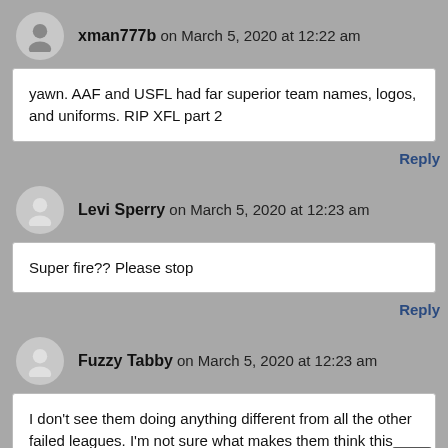xman777b on March 5, 2020 at 12:22 am
yawn. AAF and USFL had far superior team names, logos, and uniforms. RIP XFL part 2
Reply
Levi Sperry on March 5, 2020 at 12:23 am
Super fire?? Please stop
Reply
Fuzzy Tabby on March 5, 2020 at 12:23 am
I don't see them doing anything different from all the other failed leagues. I'm not sure what makes them think this league will be any different. Am I missing something?